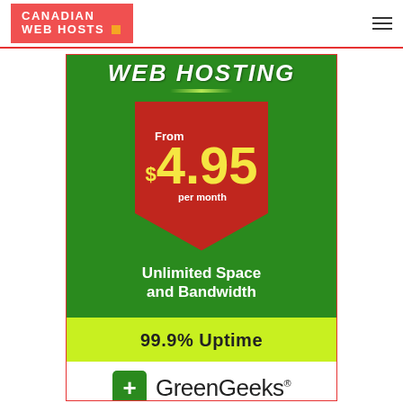CANADIAN WEB HOSTS
[Figure (infographic): GreenGeeks web hosting advertisement banner. Green background with 'WEB HOSTING' text at top, red badge shield showing 'From $4.95 per month', white bold text 'Unlimited Space and Bandwidth', lime green section with '99.9% Uptime', and GreenGeeks logo at bottom with green plus icon.]